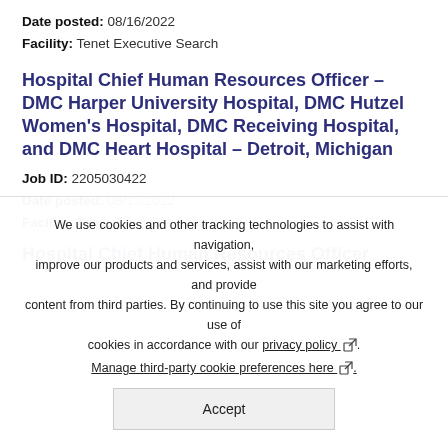Date posted: 08/16/2022
Facility: Tenet Executive Search
Hospital Chief Human Resources Officer – DMC Harper University Hospital, DMC Hutzel Women's Hospital, DMC Receiving Hospital, and DMC Heart Hospital – Detroit, Michigan
Job ID: 2205030422
Date posted: 08/12/2022
Facility: Tenet Executive Search
Hospital Chief Human Resources Officer
We use cookies and other tracking technologies to assist with navigation, improve our products and services, assist with our marketing efforts, and provide content from third parties. By continuing to use this site you agree to our use of cookies in accordance with our privacy policy 🔗.
Manage third-party cookie preferences here 🔗.
Accept